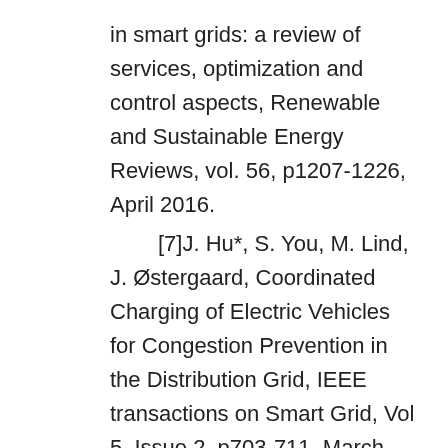in smart grids: a review of services, optimization and control aspects, Renewable and Sustainable Energy Reviews, vol. 56, p1207-1226, April 2016.
[7]J. Hu*, S. You, M. Lind, J. Østergaard, Coordinated Charging of Electric Vehicles for Congestion Prevention in the Distribution Grid, IEEE transactions on Smart Grid, Vol 5, Issue 2, p703-711, March 2014.
[8]J. Hu*, G. Yang, H.W. Bindner, Y. Xue, Application of Network-Constrained